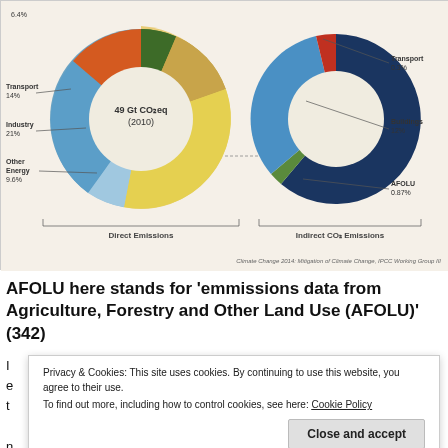[Figure (donut-chart): Two donut charts side by side: Direct Emissions (left) showing Transport 14%, Industry 21%, Other Energy 9.6%, and other segments; Indirect CO₂ Emissions (right) showing Transport 0.3%, Buildings 12%, AFOLU 0.87%, and other segments. Source: Climate Change 2014: Mitigation of Climate Change, IPCC Working Group III]
AFOLU here stands for 'emmissions data from Agriculture, Forestry and Other Land Use (AFOLU)' (342)
Privacy & Cookies: This site uses cookies. By continuing to use this website, you agree to their use. To find out more, including how to control cookies, see here: Cookie Policy